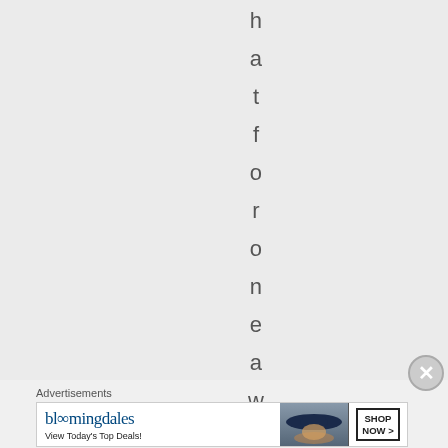h a t f o r o n e a w h o l
[Figure (illustration): Close/dismiss button (X in circle) at lower right of page]
Advertisements
[Figure (screenshot): Bloomingdale's advertisement banner: logo text 'bloomingdales', tagline 'View Today's Top Deals!', image of woman in wide-brim hat, 'SHOP NOW >' button]